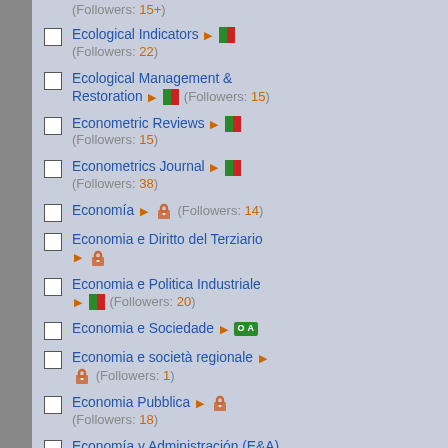(Followers: 15+) [partial, top of page]
Ecological Indicators ► [RG icon] (Followers: 22)
Ecological Management & Restoration ► [RG icon] (Followers: 15)
Econometric Reviews ► [RG icon] (Followers: 15)
Econometrics Journal ► [RG icon] (Followers: 38)
Economía ► [lock icon] (Followers: 14)
Economia e Diritto del Terziario ► [lock icon]
Economia e Politica Industriale ► [RG icon] (Followers: 20)
Economia e Sociedade ► OA
Economia e società regionale ► [lock icon] (Followers: 1)
Economia Pubblica ► [lock icon] (Followers: 18)
Economía y Administración (E&A) ► OA